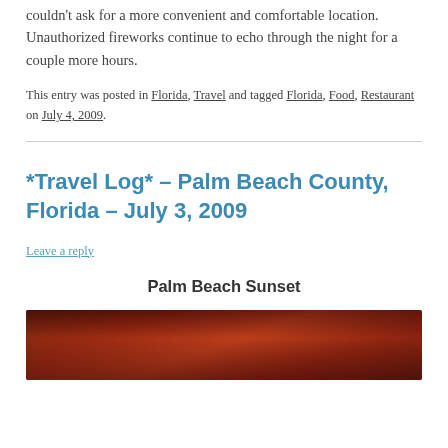couldn't ask for a more convenient and comfortable location. Unauthorized fireworks continue to echo through the night for a couple more hours.
This entry was posted in Florida, Travel and tagged Florida, Food, Restaurant on July 4, 2009.
*Travel Log* – Palm Beach County, Florida – July 3, 2009
Leave a reply
Palm Beach Sunset
[Figure (photo): A dramatic red and dark sunset sky over Palm Beach, showing deep red and dark cloud formations.]